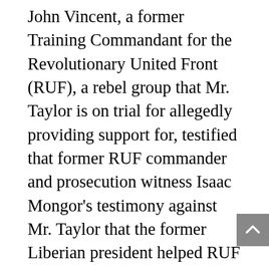John Vincent, a former Training Commandant for the Revolutionary United Front (RUF), a rebel group that Mr. Taylor is on trial for allegedly providing support for, testified that former RUF commander and prosecution witness Isaac Mongor's testimony against Mr. Taylor that the former Liberian president helped RUF leader Foday Sankoh to invade Sierra Leone in March 1991, is untrue. Mr. Mongor, in his 2008 testimony told the judges that shortly before the invasion of Sierra Leone in March 1991, Mr. Taylor and Mr. Sankoh met in the Liberian town of Voinjama, near the country's border with Sierra Leone. In his testimony yesterday, Mr. Vincent told the judges that he was part of the RUF fighters trained in Liberia, who invaded Sierra Leone